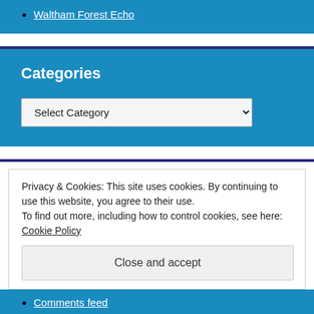Waltham Forest Echo
Categories
Select Category
Privacy & Cookies: This site uses cookies. By continuing to use this website, you agree to their use. To find out more, including how to control cookies, see here: Cookie Policy
Close and accept
Comments feed